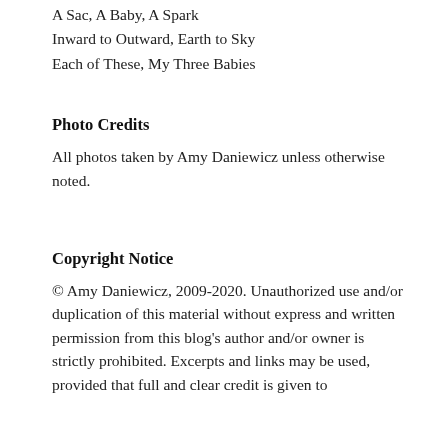A Sac, A Baby, A Spark
Inward to Outward, Earth to Sky
Each of These, My Three Babies
Photo Credits
All photos taken by Amy Daniewicz unless otherwise noted.
Copyright Notice
© Amy Daniewicz, 2009-2020. Unauthorized use and/or duplication of this material without express and written permission from this blog's author and/or owner is strictly prohibited. Excerpts and links may be used, provided that full and clear credit is given to